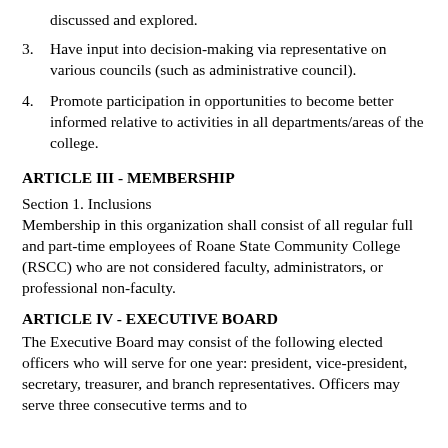discussed and explored.
3. Have input into decision-making via representative on various councils (such as administrative council).
4. Promote participation in opportunities to become better informed relative to activities in all departments/areas of the college.
ARTICLE III - MEMBERSHIP
Section 1. Inclusions
Membership in this organization shall consist of all regular full and part-time employees of Roane State Community College (RSCC) who are not considered faculty, administrators, or professional non-faculty.
ARTICLE IV - EXECUTIVE BOARD
The Executive Board may consist of the following elected officers who will serve for one year: president, vice-president, secretary, treasurer, and branch representatives. Officers may serve three consecutive terms and to